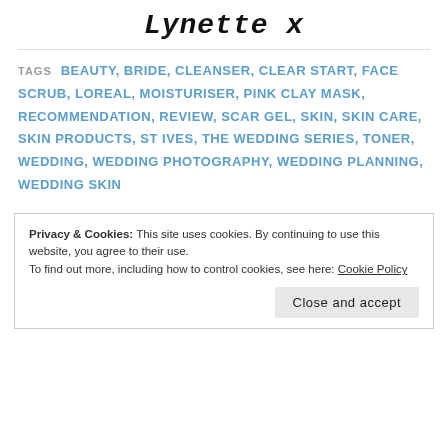Lynette x
TAGS  BEAUTY, BRIDE, CLEANSER, CLEAR START, FACE SCRUB, LOREAL, MOISTURISER, PINK CLAY MASK, RECOMMENDATION, REVIEW, SCAR GEL, SKIN, SKIN CARE, SKIN PRODUCTS, ST IVES, THE WEDDING SERIES, TONER, WEDDING, WEDDING PHOTOGRAPHY, WEDDING PLANNING, WEDDING SKIN
Privacy & Cookies: This site uses cookies. By continuing to use this website, you agree to their use.
To find out more, including how to control cookies, see here: Cookie Policy
Close and accept